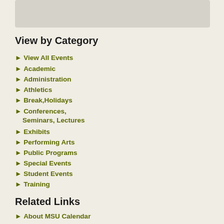[Figure (other): Gray placeholder box at top left]
View by Category
View All Events
Academic
Administration
Athletics
Break,Holidays
Conferences, Seminars, Lectures
Exhibits
Performing Arts
Public Programs
Special Events
Student Events
Training
Related Links
About MSU Calendar
Other MSU Calendars
Campus Maps
This exhibition is an attempt to understand the work of Cuesta B one of America's important collector/scholars, through intera
Dear Mr. Mandela, Dear Parks: Children's Letters Global Lessons
Exhibits (Museum, Gardens, ...)
Museum - Main Gallery)
Michigan State University and th Museum, in partnership with the Mandela Museum and the Keep Word Foundation, helped ci...
"Avelution" Birds in the Development of Darwin's Theory of Evolution
Exhibits (Museum, Gardens, ...)
Museum - West Gallery)
Naturalist Charles Darwin was s influenced by avian examples wh was developing the Theory of Ev by Natural Selection. Bi...